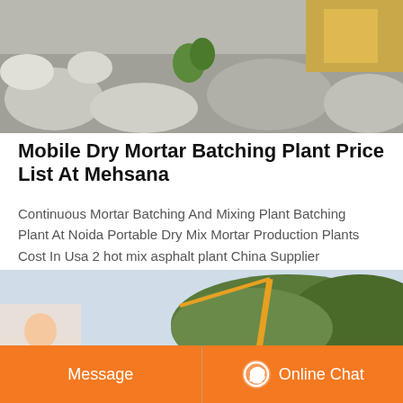[Figure (photo): Aerial or ground view of a quarry or construction site with rocks, rubble, and heavy equipment in the background.]
Mobile Dry Mortar Batching Plant Price List At Mehsana
Continuous Mortar Batching And Mixing Plant Batching Plant At Noida Portable Dry Mix Mortar Production Plants Cost In Usa 2 hot mix asphalt plant China Supplier Cement Dry Mortar Mixer Machine dry mortar batch china 30t/h mobile asphalt drum mixing batch mixers priceway 3 to 5 tons per hour dry mortar mixing machine plant. 1102) veneer stone ...
[Figure (photo): Construction site with a crane, large cylindrical drums/equipment, and green hillside trees in the background.]